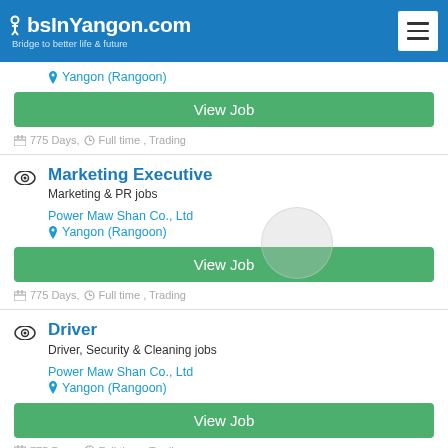JobsInYangon.com — Bridge to better life & future
Yangon (Rangoon)
View Job
775 Days, Full time , Trading
Marketing Executive
Marketing & PR jobs
Power Maw Shan Co., Ltd
Yangon (Rangoon)
View Job
775 Days, Full time , Trading
Driver
Driver, Security & Cleaning jobs
Power Maw Shan Co., Ltd
Yangon (Rangoon)
View Job
775 Days, Full time , Trading